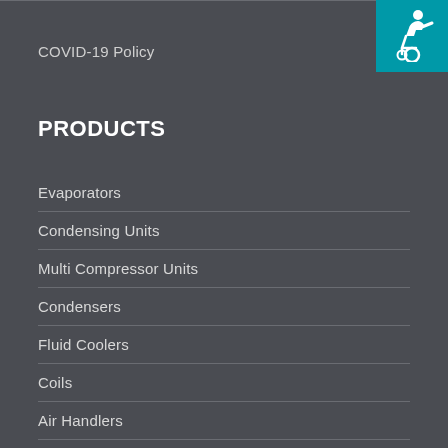COVID-19 Policy
[Figure (illustration): Accessibility icon — wheelchair user symbol on teal/blue-green background square in top-right corner]
PRODUCTS
Evaporators
Condensing Units
Multi Compressor Units
Condensers
Fluid Coolers
Coils
Air Handlers
Heat Reclaim